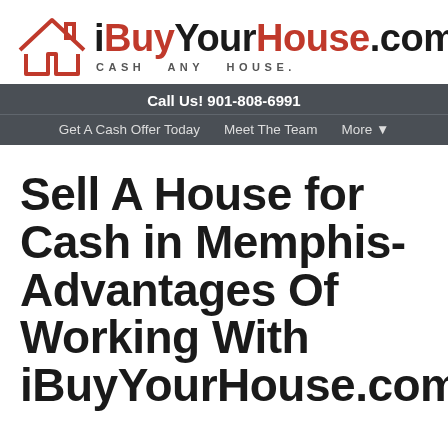[Figure (logo): iBuyYourHouse.com logo with red house outline icon and text. Main text reads iBuyYourHouse.com with tagline CASH ANY HOUSE.]
Call Us! 901-808-6991
Get A Cash Offer Today   Meet The Team   More ▾
Sell A House for Cash in Memphis- Advantages Of Working With iBuyYourHouse.com